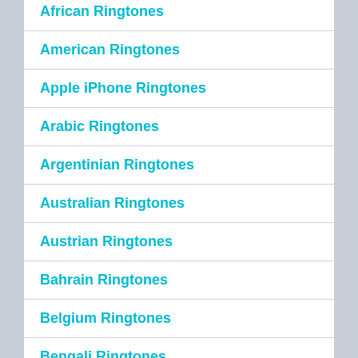African Ringtones
American Ringtones
Apple iPhone Ringtones
Arabic Ringtones
Argentinian Ringtones
Australian Ringtones
Austrian Ringtones
Bahrain Ringtones
Belgium Ringtones
Bengali Ringtones
Bhutanese Ringtones